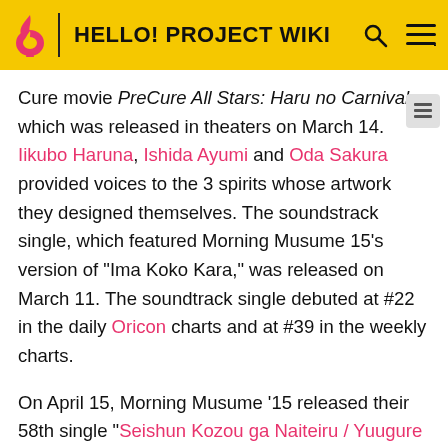HELLO! PROJECT WIKI
Cure movie PreCure All Stars: Haru no Carnival, which was released in theaters on March 14. Iikubo Haruna, Ishida Ayumi and Oda Sakura provided voices to the 3 spirits whose artwork they designed themselves. The soundstrack single, which featured Morning Musume 15's version of "Ima Koko Kara," was released on March 11. The soundtrack single debuted at #22 in the daily Oricon charts and at #39 in the weekly charts.
On April 15, Morning Musume '15 released their 58th single "Seishun Kozou ga Naiteiru / Yuugure wa Ameagari / Ima Koko Kara," the debut single of the 12th generation members. The single debuted at #2 in the daily Oricon charts and peaked at #1 on the daily charts. The group had 13 simultaneous handshake event on April 16 and April